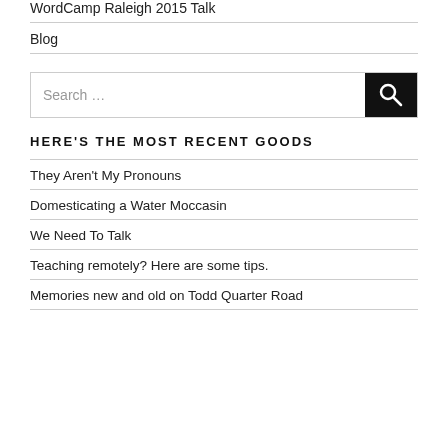WordCamp Raleigh 2015 Talk
Blog
Search …
HERE'S THE MOST RECENT GOODS
They Aren't My Pronouns
Domesticating a Water Moccasin
We Need To Talk
Teaching remotely? Here are some tips.
Memories new and old on Todd Quarter Road